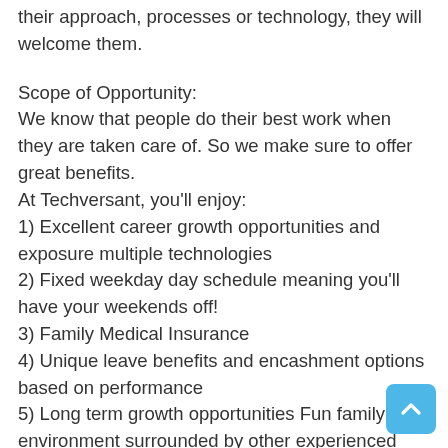their approach, processes or technology, they will welcome them.
Scope of Opportunity:
We know that people do their best work when they are taken care of. So we make sure to offer great benefits.
At Techversant, you'll enjoy:
1) Excellent career growth opportunities and exposure multiple technologies
2) Fixed weekday day schedule meaning you'll have your weekends off!
3) Family Medical Insurance
4) Unique leave benefits and encashment options based on performance
5) Long term growth opportunities Fun family environment surrounded by other experienced developers.